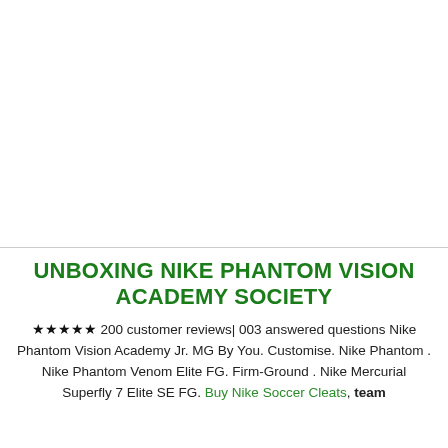[Figure (photo): White/blank image area at the top of the page, no visible content]
UNBOXING NIKE PHANTOM VISION ACADEMY SOCIETY
★★★★★ 200 customer reviews| 003 answered questions Nike Phantom Vision Academy Jr. MG By You. Customise. Nike Phantom . Nike Phantom Venom Elite FG. Firm-Ground . Nike Mercurial Superfly 7 Elite SE FG. Buy Nike Soccer Cleats, team